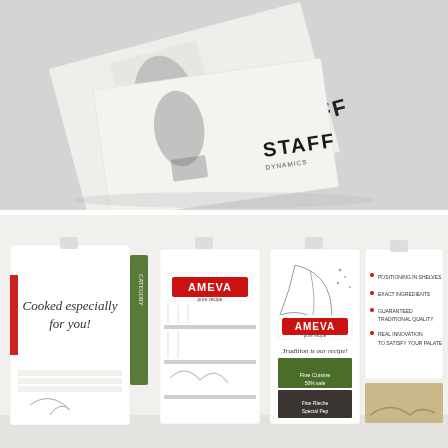[Figure (photo): Product mockup photograph showing overlapping white paper bags/envelopes with black and white imagery of boots/shoes. Two bags are visible with 'STAFF' branding text printed on them, arranged at angles on a light grey background.]
[Figure (photo): Retail display stand mockup for AMEVA brand food products. Shows multiple white wooden shelf units with the AMEVA logo (red banner with white text). One panel reads 'Cooked especially for you!' in script text. Another panel shows 'Tradition is our recipe!' with food product images attached to the side. A bullet-point list panel is visible on the right side. The display features natural leaf illustrations and wood-grain texture panels.]